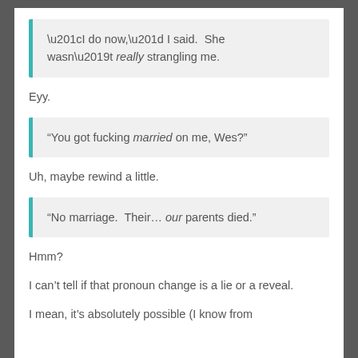“I do now,” I said.  She wasn’t really strangling me.
Eyy.
“You got fucking married on me, Wes?”
Uh, maybe rewind a little.
“No marriage.  Their… our parents died.”
Hmm?
I can’t tell if that pronoun change is a lie or a reveal.
I mean, it’s absolutely possible (I know from